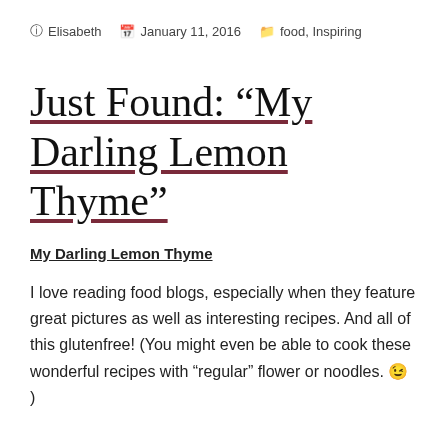Elisabeth   January 11, 2016   food, Inspiring
Just Found: “My Darling Lemon Thyme”
My Darling Lemon Thyme
I love reading food blogs, especially when they feature great pictures as well as interesting recipes. And all of this glutenfree! (You might even be able to cook these wonderful recipes with “regular” flower or noodles. 😉 )